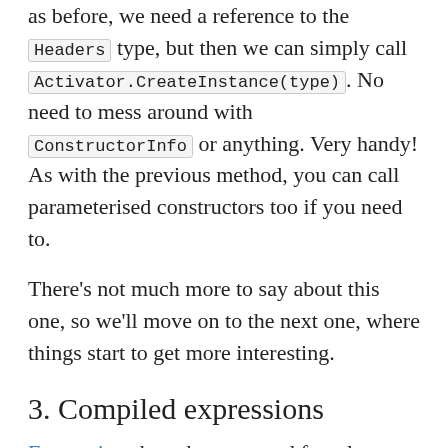as before, we need a reference to the Headers type, but then we can simply call Activator.CreateInstance(type). No need to mess around with ConstructorInfo or anything. Very handy! As with the previous method, you can call parameterised constructors too if you need to.
There's not much more to say about this one, so we'll move on to the next one, where things start to get more interesting.
3. Compiled expressions
Expressions have been around for a long time (since C# 3.0) and are integral to various other features and libraries such as LINQ and ORMs such as EF Core. In many ways they are similar to reflection, in that they allow manipulation of code at runtime.